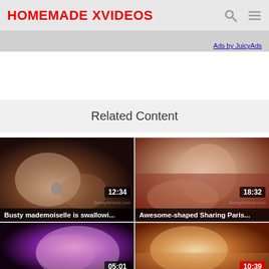HOMEMADE XVIDEOS
Ads by JuicyAds
Related Content
[Figure (screenshot): Video thumbnail: Busty mademoiselle is swallowi... Duration 12:34]
[Figure (screenshot): Video thumbnail: Awesome-shaped Sharing Paris... Duration 18:32]
[Figure (screenshot): Video thumbnail, duration 05:01]
[Figure (screenshot): Video thumbnail, duration 10:39]